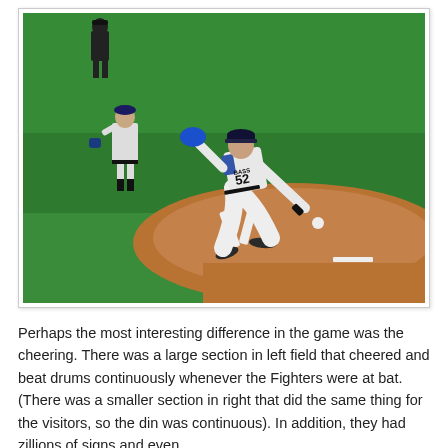[Figure (photo): A baseball pitcher wearing jersey number 52 (BASS) in mid-throw on the pitcher's mound at an indoor baseball stadium with a bright green artificial turf field. Another player stands in the background. The mound area is reddish-brown dirt.]
Perhaps the most interesting difference in the game was the cheering. There was a large section in left field that cheered and beat drums continuously whenever the Fighters were at bat. (There was a smaller section in right that did the same thing for the visitors, so the din was continuous). In addition, they had zillions of signs and even had individually...